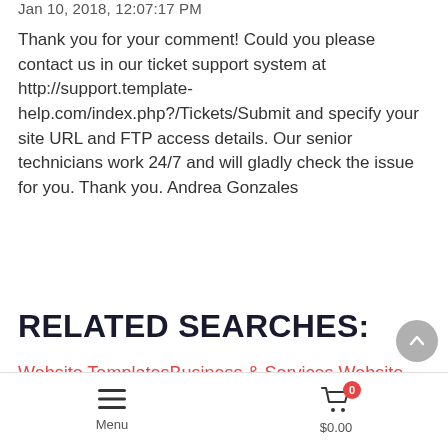Jan 10, 2018, 12:07:17 PM
Thank you for your comment! Could you please contact us in our ticket support system at http://support.template-help.com/index.php?/Tickets/Submit and specify your site URL and FTP access details. Our senior technicians work 24/7 and will gladly check the issue for you. Thank you. Andrea Gonzales
RELATED SEARCHES:
Website TemplatesBusiness & Services Website TemplatesBusiness Services Website TemplatesFashion & Beauty Website TemplatesMedical Website TemplatesFinance Website TemplatesConsulting Website TemplatesIndustrial Website TemplatesBeauty Website TemplatesFashion Website…
Menu  0  $0.00